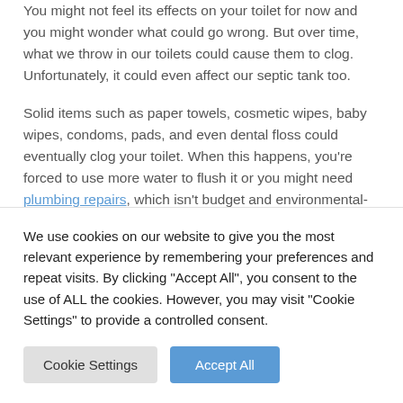You might not feel its effects on your toilet for now and you might wonder what could go wrong. But over time, what we throw in our toilets could cause them to clog. Unfortunately, it could even affect our septic tank too.
Solid items such as paper towels, cosmetic wipes, baby wipes, condoms, pads, and even dental floss could eventually clog your toilet. When this happens, you're forced to use more water to flush it or you might need plumbing repairs, which isn't budget and environmental-friendly. On the other hand, liquids such as cooking...
We use cookies on our website to give you the most relevant experience by remembering your preferences and repeat visits. By clicking "Accept All", you consent to the use of ALL the cookies. However, you may visit "Cookie Settings" to provide a controlled consent.